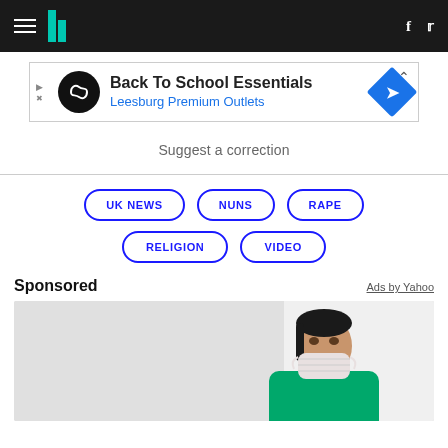HuffPost navigation bar with hamburger menu, logo, Facebook and Twitter icons
[Figure (other): Advertisement banner: Back To School Essentials - Leesburg Premium Outlets]
Suggest a correction
UK NEWS
NUNS
RAPE
RELIGION
VIDEO
Sponsored
Ads by Yahoo
[Figure (photo): Woman wearing a green medical uniform and white face mask, photographed from the shoulders up against a light background]